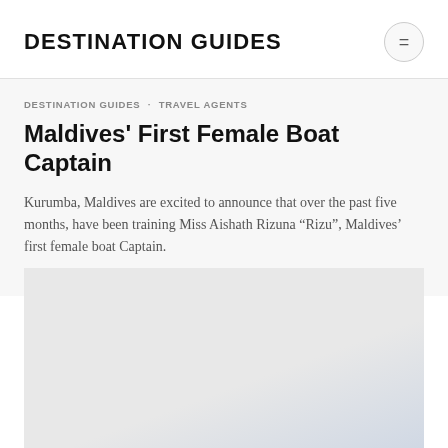DESTINATION GUIDES
DESTINATION GUIDES   TRAVEL AGENTS
Maldives' First Female Boat Captain
Kurumba, Maldives are excited to announce that over the past five months, have been training Miss Aishath Rizuna “Rizu”, Maldives’ first female boat Captain.
JANUARY 11, 2015
[Figure (photo): A photograph related to Maldives' first female boat captain article, showing a light blue/grey outdoor scene.]